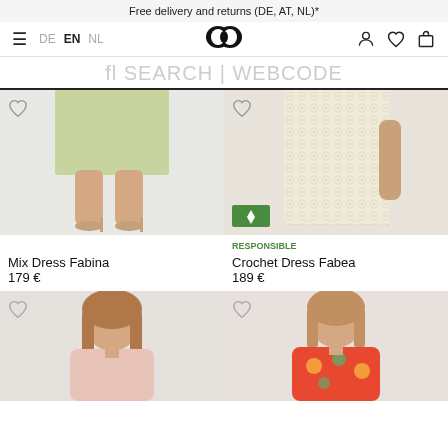Free delivery and returns (DE, AT, NL)*
[Figure (screenshot): E-commerce fashion website navigation bar with hamburger menu, language selector (DE EN NL), double-ring logo, user/wishlist/cart icons, search bar reading 'fl SEARCH | WEBCODE']
[Figure (photo): Product photo: Mix Dress Fabina - light green midi dress, lower body/legs visible with heeled sandals]
Mix Dress Fabina
179 €
[Figure (photo): Product photo: Crochet Dress Fabea - cream/ivory crochet lace dress, with RESPONSIBLE badge]
RESPONSIBLE
Crochet Dress Fabea
189 €
[Figure (photo): Product photo bottom left: woman in pink top, face and upper body visible]
[Figure (photo): Product photo bottom right: woman in floral/colorful dress, face and upper body visible]